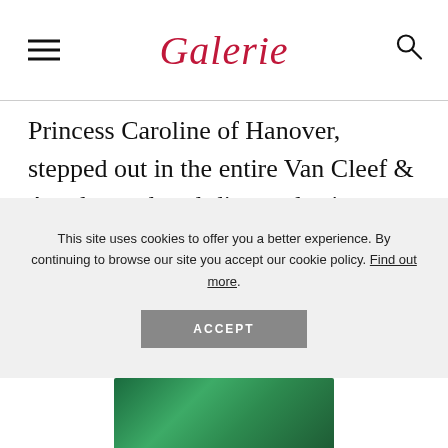Galerie
Princess Caroline of Hanover, stepped out in the entire Van Cleef & Arpels pearl-and-diamond suite, bringing the collection out for the first time since Kelly's death.
This site uses cookies to offer you a better experience. By continuing to browse our site you accept our cookie policy. Find out more.
[Figure (photo): Green gemstone or jewel photograph at the bottom of the page]